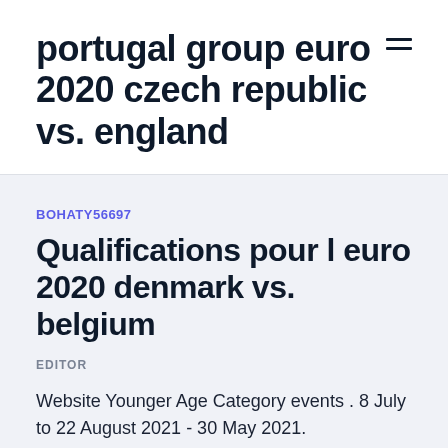portugal group euro 2020 czech republic vs. england
BOHATY56697
Qualifications pour l euro 2020 denmark vs. belgium
EDITOR
Website Younger Age Category events . 8 July to 22 August 2021 - 30 May 2021.
16&U Tennis Europe Tournament Devoted to the